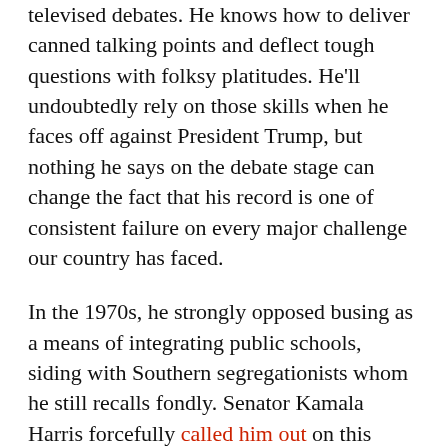televised debates. He knows how to deliver canned talking points and deflect tough questions with folksy platitudes. He'll undoubtedly rely on those skills when he faces off against President Trump, but nothing he says on the debate stage can change the fact that his record is one of consistent failure on every major challenge our country has faced.
In the 1970s, he strongly opposed busing as a means of integrating public schools, siding with Southern segregationists whom he still recalls fondly. Senator Kamala Harris forcefully called him out on this during one of the Democratic primary debates, but Biden managed to blunt the attack with a non-answer. The spat had so little effect on Biden that he later chose Harris as his running mate.